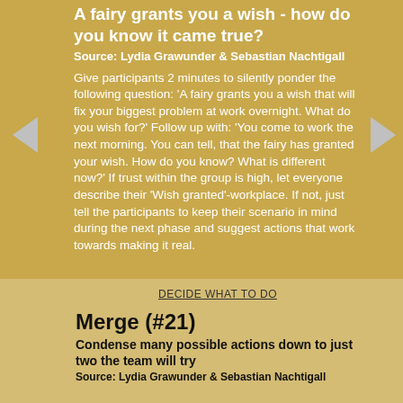A fairy grants you a wish - how do you know it came true?
Source: Lydia Grawunder & Sebastian Nachtigall
Give participants 2 minutes to silently ponder the following question: 'A fairy grants you a wish that will fix your biggest problem at work overnight. What do you wish for?' Follow up with: 'You come to work the next morning. You can tell, that the fairy has granted your wish. How do you know? What is different now?' If trust within the group is high, let everyone describe their 'Wish granted'-workplace. If not, just tell the participants to keep their scenario in mind during the next phase and suggest actions that work towards making it real.
DECIDE WHAT TO DO
Merge (#21)
Condense many possible actions down to just two the team will try
Source: Lydia Grawunder & Sebastian Nachtigall